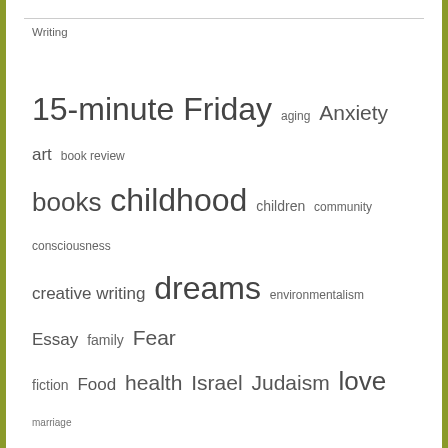Writing
[Figure (infographic): Tag cloud showing writing-related topics with varying font sizes indicating frequency/importance. Tags include: 15-minute Friday, aging, Anxiety, art, book review, books, childhood, children, community, consciousness, creative writing, dreams, environmentalism, Essay, family, Fear, fiction, Food, health, Israel, Judaism, love, marriage, meditation, memoir, Memory, mindfulness, Motherhood, music, nostalgia, parenting, Philosophy, photography, Poetry, psychology, religion, self-help, the boxed set series, time, time travel, turning 40, wellness, writers, writing, writing prompt]